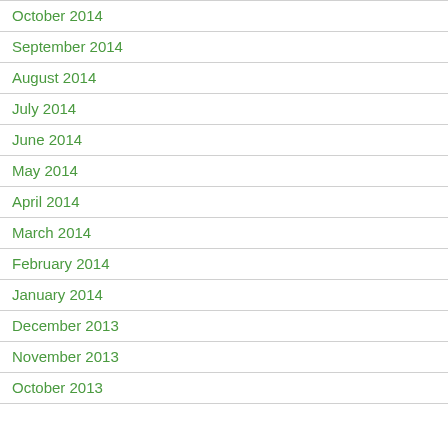October 2014
September 2014
August 2014
July 2014
June 2014
May 2014
April 2014
March 2014
February 2014
January 2014
December 2013
November 2013
October 2013